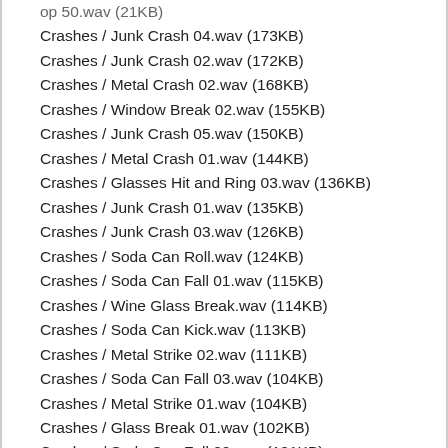Crashes / Junk Crash 04.wav (173KB)
Crashes / Junk Crash 02.wav (172KB)
Crashes / Metal Crash 02.wav (168KB)
Crashes / Window Break 02.wav (155KB)
Crashes / Junk Crash 05.wav (150KB)
Crashes / Metal Crash 01.wav (144KB)
Crashes / Glasses Hit and Ring 03.wav (136KB)
Crashes / Junk Crash 01.wav (135KB)
Crashes / Junk Crash 03.wav (126KB)
Crashes / Soda Can Roll.wav (124KB)
Crashes / Soda Can Fall 01.wav (115KB)
Crashes / Wine Glass Break.wav (114KB)
Crashes / Soda Can Kick.wav (113KB)
Crashes / Metal Strike 02.wav (111KB)
Crashes / Soda Can Fall 03.wav (104KB)
Crashes / Metal Strike 01.wav (104KB)
Crashes / Glass Break 01.wav (102KB)
Crashes / Soda Can Fall 02.wav (101KB)
Crashes / Window Break 01.wav (101KB)